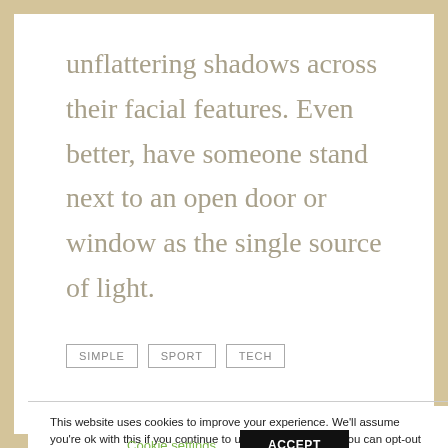unflattering shadows across their facial features. Even better, have someone stand next to an open door or window as the single source of light.
SIMPLE
SPORT
TECH
This website uses cookies to improve your experience. We'll assume you're ok with this if you continue to use this website, but you can opt-out if you wish.
Cookie settings
ACCEPT